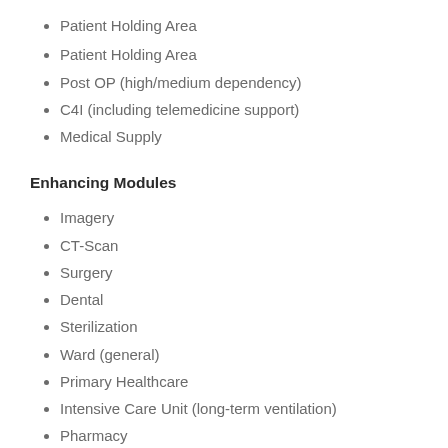Patient Holding Area
Post OP (high/medium dependency)
C4I (including telemedicine support)
Medical Supply
Enhancing Modules
Imagery
CT-Scan
Surgery
Dental
Sterilization
Ward (general)
Primary Healthcare
Intensive Care Unit (long-term ventilation)
Pharmacy
Laboratory
Mental Health
Internal Medicine